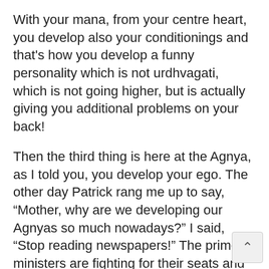With your mana, from your centre heart, you develop also your conditionings and that's how you develop a funny personality which is not urdhvagati, which is not going higher, but is actually giving you additional problems on your back!
Then the third thing is here at the Agnya, as I told you, you develop your ego. The other day Patrick rang me up to say, “Mother, why are we developing our Agnyas so much nowadays?” I said, “Stop reading newspapers!” The prime ministers are fighting for their seats and this and that and if you read newspapers you will also feel that you are a prime minister [and] you better fight it. Because when you see a picture or any drama sometimes you get identified and you think, “I am Napoleon myself! don't read newspapers! Don't read about these mad